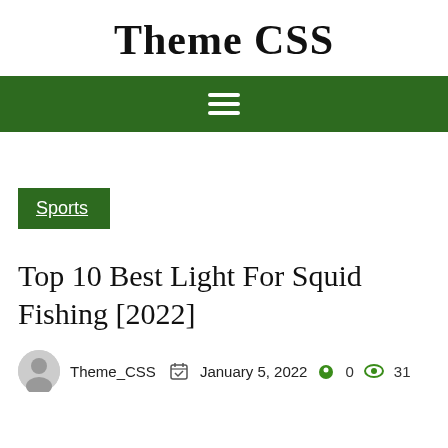Theme CSS
[Figure (other): Green navigation bar with hamburger menu icon (three horizontal white lines)]
Sports
Top 10 Best Light For Squid Fishing [2022]
Theme_CSS  January 5, 2022  0  31